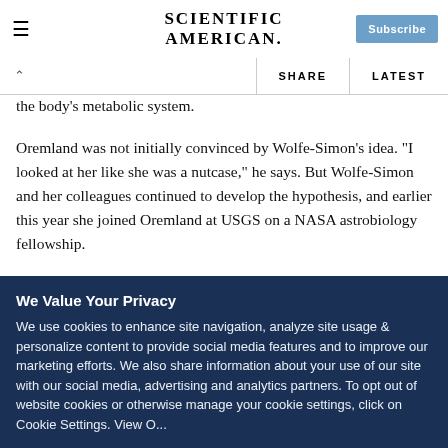SCIENTIFIC AMERICAN
the body's metabolic system.
Oremland was not initially convinced by Wolfe-Simon's idea. "I looked at her like she was a nutcase," he says. But Wolfe-Simon and her colleagues continued to develop the hypothesis, and earlier this year she joined Oremland at USGS on a NASA astrobiology fellowship.
We Value Your Privacy
We use cookies to enhance site navigation, analyze site usage & personalize content to provide social media features and to improve our marketing efforts. We also share information about your use of our site with our social media, advertising and analytics partners. To opt out of website cookies or otherwise manage your cookie settings, click on Cookie Settings. View O...